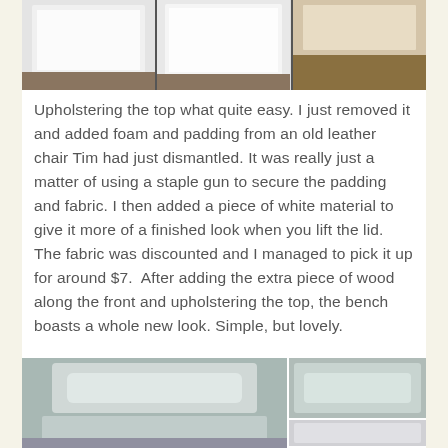[Figure (photo): Three photos arranged in a row at the top showing interior views of a storage bench: left shows white padded interior, center shows empty white interior, right shows wooden base/bottom]
Upholstering the top what quite easy. I just removed it and added foam and padding from an old leather chair Tim had just dismantled. It was really just a matter of using a staple gun to secure the padding and fabric. I then added a piece of white material to give it more of a finished look when you lift the lid. The fabric was discounted and I managed to pick it up for around $7.  After adding the extra piece of wood along the front and upholstering the top, the bench boasts a whole new look. Simple, but lovely.
[Figure (photo): Bottom photos showing finished upholstered bench: large left image shows front view of white painted bench with upholstered seat top, top-right shows close-up of upholstered fabric corner/edge, bottom-right shows another view of the bench]